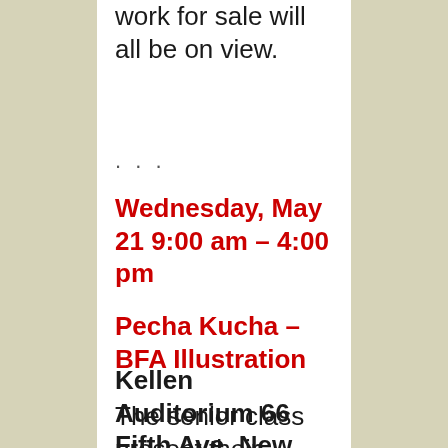work for sale will all be on view.
…
Wednesday, May 21 9:00 am – 4:00 pm
Pecha Kucha – BFA Illustration
Kellen Auditorium 66 Fifth Ave, New York, NY ground floor
The senior class present their